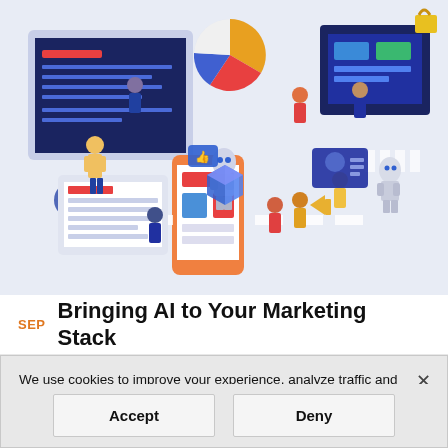[Figure (illustration): Isometric illustration showing people working with AI, marketing dashboards, robots, smartphones, and digital screens in a city-like layout]
SEP  Bringing AI to Your Marketing Stack
We use cookies to improve your experience, analyze traffic and personalize content. See our Privacy Policy for details. Learn More
Accept
Deny